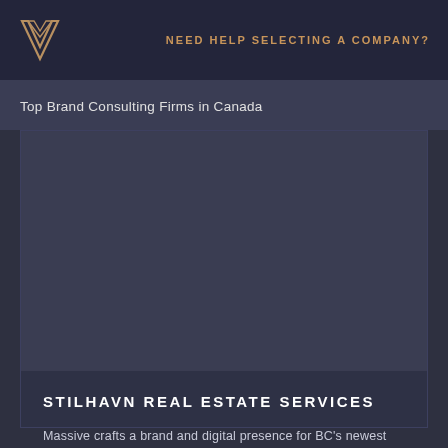[Figure (logo): Stylized W logo mark in gold/tan outline on dark background]
NEED HELP SELECTING A COMPANY?
Top Brand Consulting Firms in Canada
[Figure (photo): Large dark-toned image placeholder for Stilhavn Real Estate Services case study]
STILHAVN REAL ESTATE SERVICES
Massive crafts a brand and digital presence for BC's newest boutique real estate brokerage.